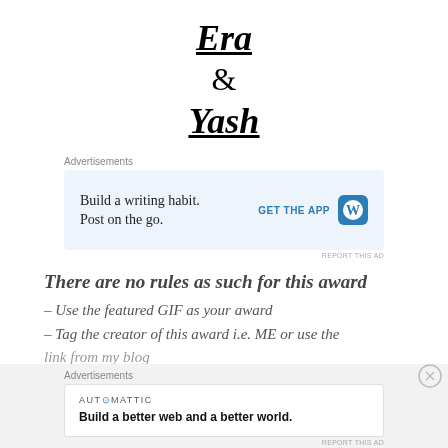Era & Yash
Advertisements
Build a writing habit. Post on the go.
GET THE APP
REPORT THIS AD
There are no rules as such for this award
– Use the featured GIF as your award
– Tag the creator of this award i.e. ME or use the
Advertisements
AUTOMATTIC
Build a better web and a better world.
REPORT THIS AD